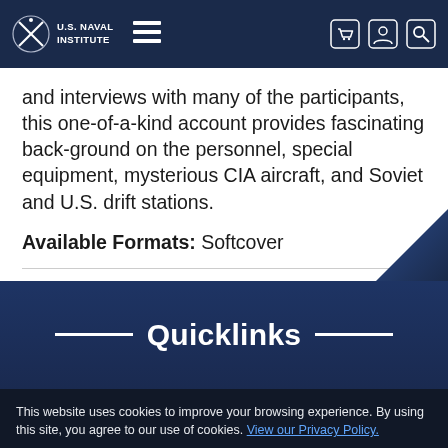U.S. Naval Institute
and interviews with many of the participants, this one-of-a-kind account provides fascinating back-ground on the personnel, special equipment, mysterious CIA aircraft, and Soviet and U.S. drift stations.
Available Formats: Softcover
Quicklinks
This website uses cookies to improve your browsing experience. By using this site, you agree to our use of cookies. View our Privacy Policy.
I ACCEPT